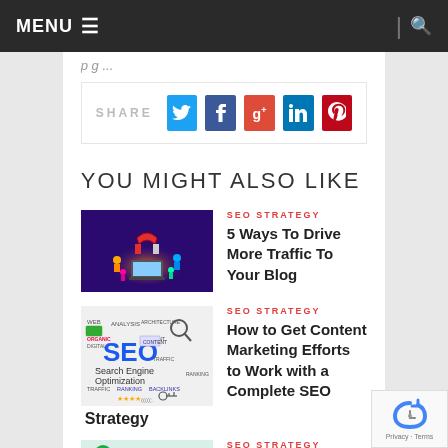MENU
[Figure (screenshot): Social share bar with Twitter, Facebook, Google+, LinkedIn, Pinterest buttons]
YOU MIGHT ALSO LIKE
[Figure (illustration): SEO strategy colorful 3D illustration with magnet and people]
SEO STRATEGY
5 Ways To Drive More Traffic To Your Blog
[Figure (illustration): SEO Search Engine Optimization diagram illustration]
SEO STRATEGY
How to Get Content Marketing Efforts to Work with a Complete SEO Strategy
SEO STRATEGY